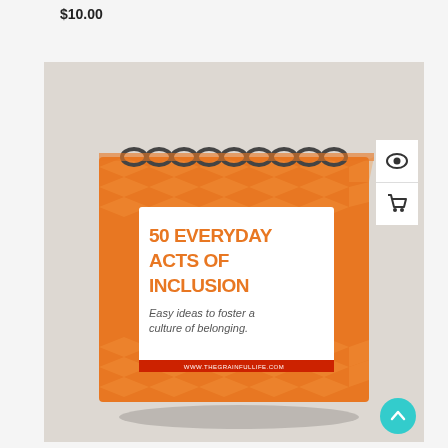$10.00
[Figure (photo): A spiral-bound desktop flip calendar with an orange chevron pattern cover. The front page shows a white card with text '50 EVERYDAY ACTS OF INCLUSION' in bold orange letters, subtitle 'Easy ideas to foster a culture of belonging.' and a website URL banner at the bottom reading www.thegrainfullife.com. The calendar sits on a light surface with a neutral background.]